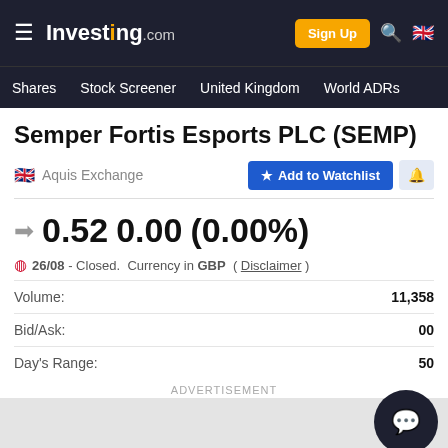Investing.com — Sign Up | Shares | Stock Screener | United Kingdom | World ADRs
Semper Fortis Esports PLC (SEMP)
Aquis Exchange — Add to Watchlist
0.52  0.00  (0.00%)
26/08 - Closed.  Currency in GBP  ( Disclaimer )
| Label | Value |
| --- | --- |
| Volume: | 11,358 |
| Bid/Ask: | 00 |
| Day's Range: | 50 |
ADVERTISEMENT